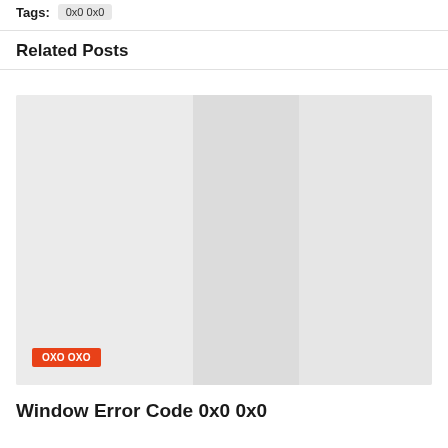Tags: 0x0 0x0
Related Posts
[Figure (photo): Placeholder image with light gray tones divided into three vertical columns of slightly varying shades. An orange 'OXO OXO' tag badge is overlaid at the bottom-left.]
Window Error Code 0x0 0x0